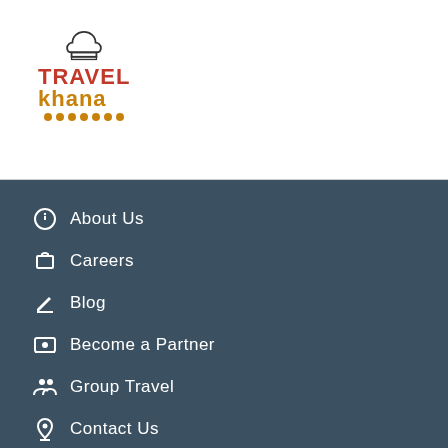[Figure (logo): Travel Khana logo with chef hat icon, TRAVEL in red and Khana in orange with decorative dots underneath]
About Us
Careers
Blog
Become a Partner
Group Travel
Contact Us
Site Map
FAQ for Customers